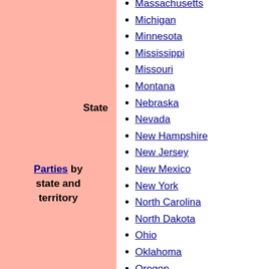State
Parties by state and territory
Massachusetts
Michigan
Minnesota
Mississippi
Missouri
Montana
Nebraska
Nevada
New Hampshire
New Jersey
New Mexico
New York
North Carolina
North Dakota
Ohio
Oklahoma
Oregon
Pennsylvania
Rhode Island
South Carolina
South Dakota
Tennessee
Texas
Utah
Vermont
Virginia